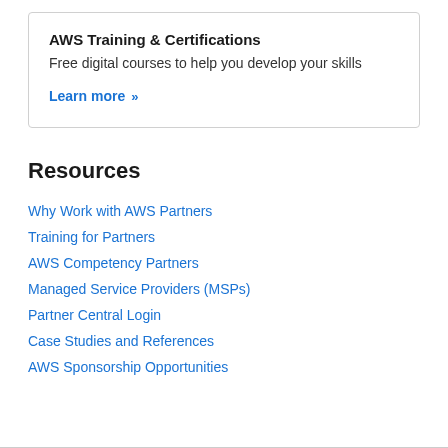AWS Training & Certifications
Free digital courses to help you develop your skills
Learn more »
Resources
Why Work with AWS Partners
Training for Partners
AWS Competency Partners
Managed Service Providers (MSPs)
Partner Central Login
Case Studies and References
AWS Sponsorship Opportunities